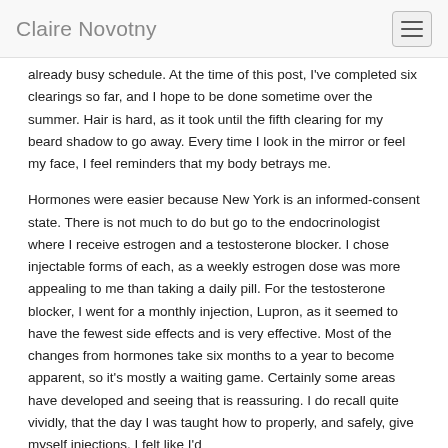Claire Novotny
already busy schedule. At the time of this post, I've completed six clearings so far, and I hope to be done sometime over the summer. Hair is hard, as it took until the fifth clearing for my beard shadow to go away. Every time I look in the mirror or feel my face, I feel reminders that my body betrays me.
Hormones were easier because New York is an informed-consent state. There is not much to do but go to the endocrinologist where I receive estrogen and a testosterone blocker. I chose injectable forms of each, as a weekly estrogen dose was more appealing to me than taking a daily pill. For the testosterone blocker, I went for a monthly injection, Lupron, as it seemed to have the fewest side effects and is very effective. Most of the changes from hormones take six months to a year to become apparent, so it's mostly a waiting game. Certainly some areas have developed and seeing that is reassuring. I do recall quite vividly, that the day I was taught how to properly, and safely, give myself injections, I felt like I'd